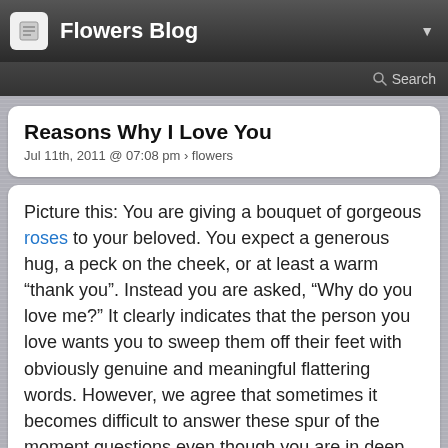Flowers Blog
Reasons Why I Love You
Jul 11th, 2011 @ 07:08 pm › flowers
Picture this: You are giving a bouquet of gorgeous roses to your beloved. You expect a generous hug, a peck on the cheek, or at least a warm “thank you”. Instead you are asked, “Why do you love me?” It clearly indicates that the person you love wants you to sweep them off their feet with obviously genuine and meaningful flattering words. However, we agree that sometimes it becomes difficult to answer these spur of the moment questions even though you are in deep love with her. This question demands an intelligent answer that is more based on her attributes and gestures rather physical. For these momental questions, we, at Iloveindia, bring you some momentary answers that will make you stand out among the rest. This can even be ideal for gifting on your special occasions. So go ahead and choose your best answer from the list given below to answer this